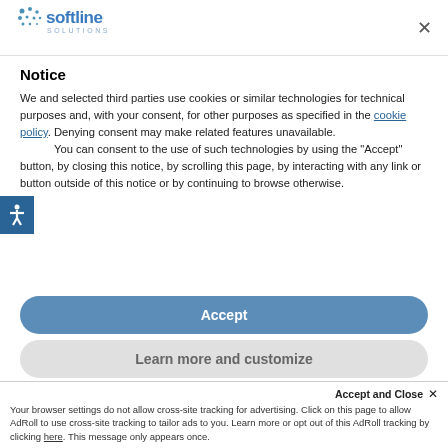[Figure (logo): Softline Solutions logo — blue dot grid icon with 'softline' text in blue and 'SOLUTIONS' subtitle in gray]
Notice
We and selected third parties use cookies or similar technologies for technical purposes and, with your consent, for other purposes as specified in the cookie policy. Denying consent may make related features unavailable.
You can consent to the use of such technologies by using the "Accept" button, by closing this notice, by scrolling this page, by interacting with any link or button outside of this notice or by continuing to browse otherwise.
Accept
Learn more and customize
Accept and Close ×
Your browser settings do not allow cross-site tracking for advertising. Click on this page to allow AdRoll to use cross-site tracking to tailor ads to you. Learn more or opt out of this AdRoll tracking by clicking here. This message only appears once.